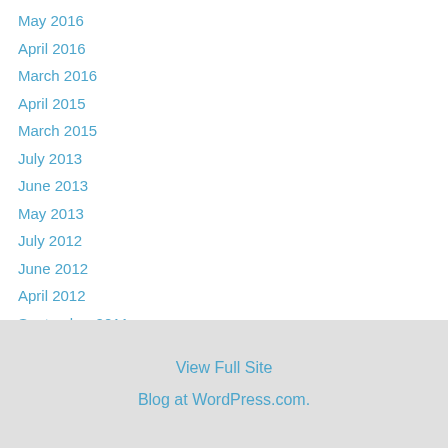May 2016
April 2016
March 2016
April 2015
March 2015
July 2013
June 2013
May 2013
July 2012
June 2012
April 2012
September 2011
August 2011
July 2011
View Full Site
Blog at WordPress.com.